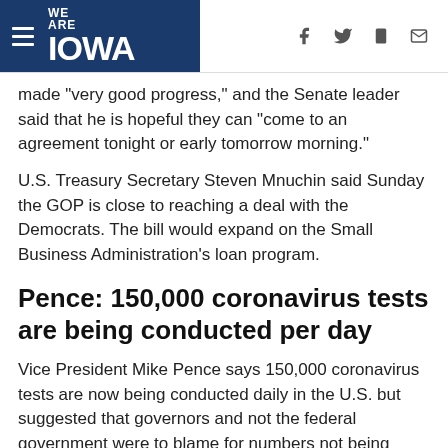WE ARE IOWA
made "very good progress," and the Senate leader said that he is hopeful they can "come to an agreement tonight or early tomorrow morning."
U.S. Treasury Secretary Steven Mnuchin said Sunday the GOP is close to reaching a deal with the Democrats. The bill would expand on the Small Business Administration's loan program.
Pence: 150,000 coronavirus tests are being conducted per day
Vice President Mike Pence says 150,000 coronavirus tests are now being conducted daily in the U.S. but suggested that governors and not the federal government were to blame for numbers not being higher.